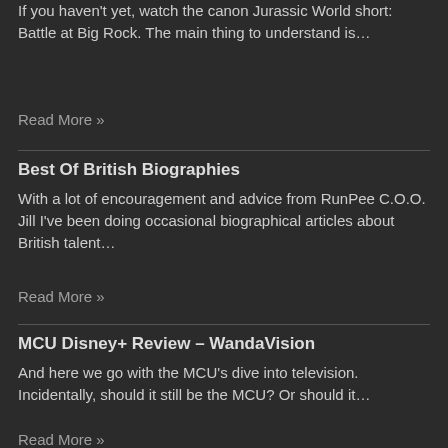If you haven't yet, watch the canon Jurassic World short: Battle at Big Rock. The main thing to understand is…
Read More »
Best Of British Biographies
With a lot of encouragement and advice from RunPee C.O.O. Jill I've been doing occasional biographical articles about British talent…
Read More »
MCU Disney+ Review – WandaVision
And here we go with the MCU's dive into television. Incidentally, should it still be the MCU? Or should it…
Read More »